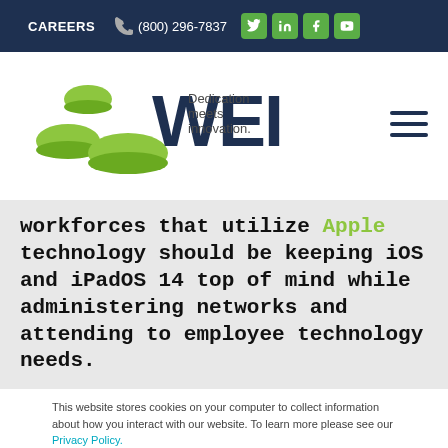CAREERS  (800) 296-7837
[Figure (logo): WEI logo with green disc shapes and tagline 'Dedication meets innovation.']
workforces that utilize Apple technology should be keeping iOS and iPadOS 14 top of mind while administering networks and attending to employee technology needs.
This website stores cookies on your computer to collect information about how you interact with our website. To learn more please see our Privacy Policy.
Okay, got it.